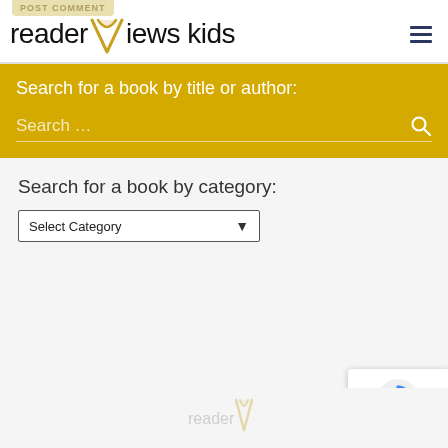POST COMMENT — reader Views kids
Search for a book by title or author:
Search ...
Search for a book by category:
Select Category
[Figure (logo): reCAPTCHA badge with circular arrow logo and Privacy · Terms text]
[Figure (logo): Reader Views Kids logo at bottom of page, partially visible]